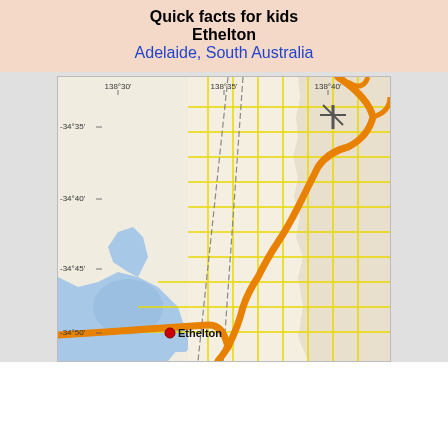Quick facts for kids
Ethelton
Adelaide, South Australia
[Figure (map): Street map of the Adelaide, South Australia area showing the suburb of Ethelton marked with a red dot. The map displays coordinate grid lines with labels: longitude 138°30', 138°35', 138°40' along the top, and latitude -34°35', -34°40', -34°45', -34°50' along the left side. The map shows road networks with yellow local roads, orange major roads/highways, a blue water body (likely the Port River / St Vincent Gulf area) on the left/lower-left, and urban street grids. The Ethelton label with a red marker appears near the bottom-left of the map around coordinates -34°50'.]